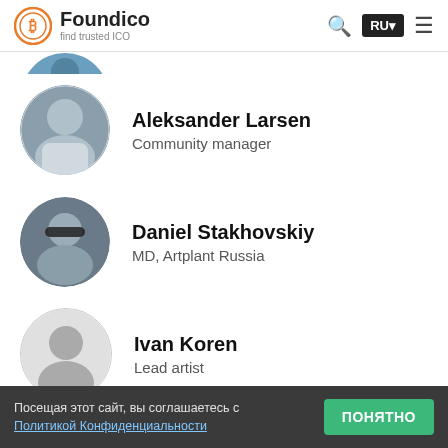Foundico – find trusted ICO
[Figure (other): Partially visible circular avatar photo at top (cropped)]
Aleksander Larsen – Community manager
Daniel Stakhovskiy – MD, Artplant Russia
Ivan Koren – Lead artist
Joachim Barrum – Art director
Посещая этот сайт, вы соглашаетесь с Политикой Конфиденциальности
ПОНЯТНО